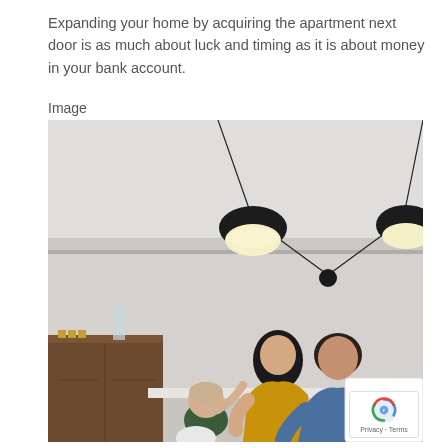Expanding your home by acquiring the apartment next door is as much about luck and timing as it is about money in your bank account.
Image
[Figure (photo): Interior photo of a modern room with black pendant lights hanging from the ceiling. A family — a woman in a yellow top, a man in a blue shirt, and a toddler — are gathered around a table interacting playfully. A wooden sideboard with bottles is visible in the background.]